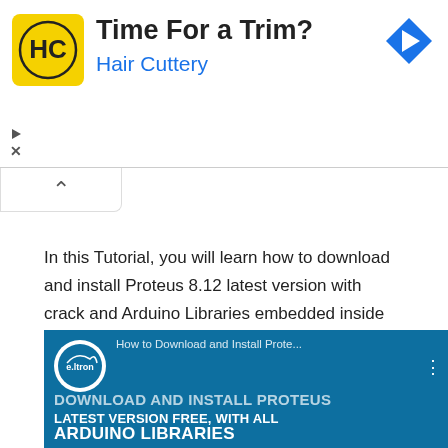[Figure (infographic): Hair Cuttery advertisement banner with yellow HC logo, 'Time For a Trim?' headline, and blue navigation arrow icon. Ad controls with play/close icons at bottom left.]
[Figure (other): Collapse/minimize tab with upward chevron arrow below the ad banner]
In this Tutorial, you will learn how to download and install Proteus 8.12 latest version with crack and Arduino Libraries embedded inside the software.
[Figure (screenshot): Video thumbnail for 'How to Download and Install Prote...' showing e.ltron logo, teal/blue background with text 'DOWNLOAD AND INSTALL PROTEUS LATEST VERSION FREE, WITH ALL ARDUINO LIBRARIES']